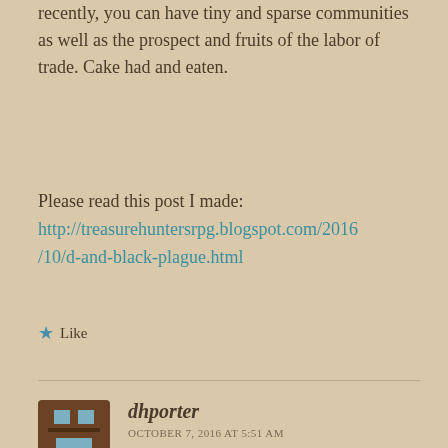recently, you can have tiny and sparse communities as well as the prospect and fruits of the labor of trade. Cake had and eaten.
Please read this post I made: http://treasurehuntersrpg.blogspot.com/2016/10/d-and-black-plague.html
★ Like
dhporter
OCTOBER 7, 2016 AT 5:51 AM
I've at times struggled with merchants